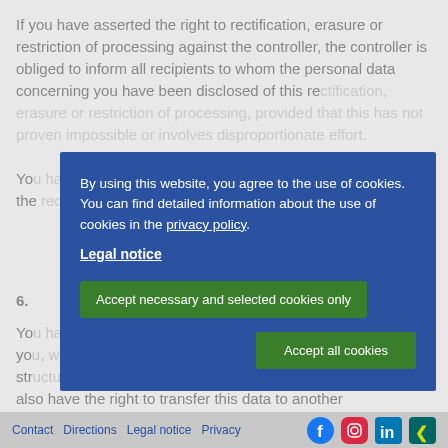If you have asserted the right to rectification, erasure or restriction of processing against the controller, the controller is obliged to inform all recipients to whom the personal data concerning you have been disclosed of this rectification, erasure or restriction of processing, provided that this has not proven impossible or involves disproportionate effort. You have the right to be informed about those recipients.
You have the right to receive the personal data concerning you in a structured, commonly used and machine-readable format.
6.
You have the right to receive the personal data concerning you, which you have provided to a controller, in a structured, commonly used and machine-readable format. You also have the right to transfer this data to another controller without hindrance from the controller to whom the personal data has been provided, provided that.
[Figure (screenshot): Cookie consent overlay with blue background. Contains text: 'By using this website, you agree to the use of cookies. You can find detailed information about the use of cookies in the privacy policy.' A 'Legal notice' link, and two green buttons: 'Accept necessary and selected cookies only' and 'Accept all cookies'.]
Contact   Directions   Legal notice   Privacy   [Facebook] [Instagram] [LinkedIn] [Xing]